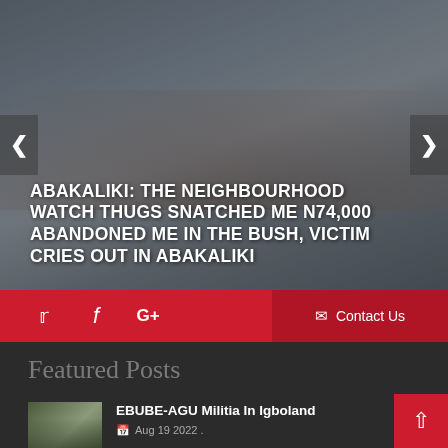[Figure (photo): Hero image of crowd in outdoor setting with dark cloudy sky, showing a news article slider]
ABAKALIKI: THE NEIGHBOURHOOD WATCH THUGS SNATCHED ME N74,000 ABANDONED ME IN THE BUSH, VICTIM CRIES OUT IN ABAKALIKI
[Figure (infographic): Red social media bar with Twitter, Facebook, Google+ icons and Contact Us link]
Featured Posts
[Figure (photo): Thumbnail image of crowd, associated with EBUBE-AGU Militia post]
EBUBE-AGU Militia In Igboland
Aug 19 2022